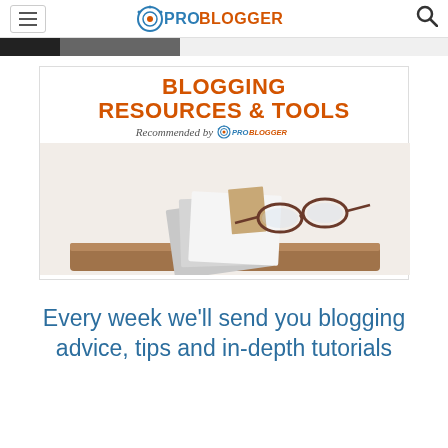ProBlogger navigation bar with hamburger menu and search icon
[Figure (screenshot): Dark strip at the top of the page, partial image of a dark object on light background]
[Figure (infographic): Blogging Resources & Tools banner recommended by ProBlogger, showing books, folders, and glasses on a wooden tray]
Every week we'll send you blogging advice, tips and in-depth tutorials